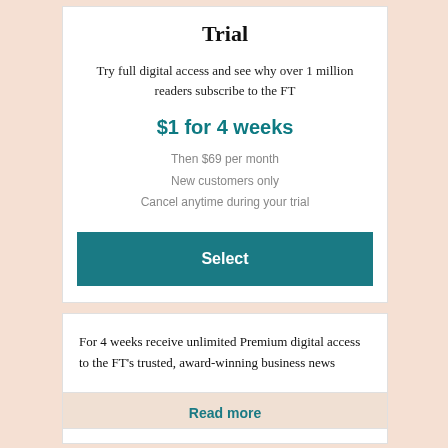Trial
Try full digital access and see why over 1 million readers subscribe to the FT
$1 for 4 weeks
Then $69 per month
New customers only
Cancel anytime during your trial
Select
For 4 weeks receive unlimited Premium digital access to the FT's trusted, award-winning business news
Read more